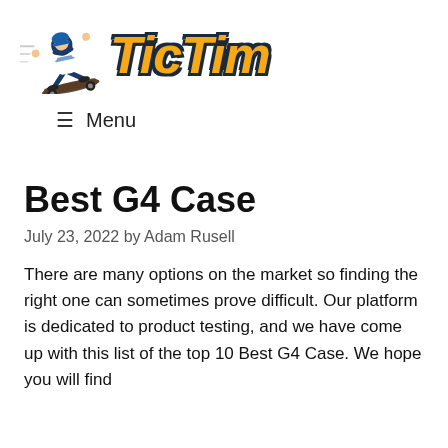[Figure (logo): TicTim website logo with a skateboarder illustration on the left and the text 'TicTim' in large orange bold letters with dark outline on the right]
≡ Menu
Best G4 Case
July 23, 2022 by Adam Rusell
There are many options on the market so finding the right one can sometimes prove difficult. Our platform is dedicated to product testing, and we have come up with this list of the top 10 Best G4 Case. We hope you will find